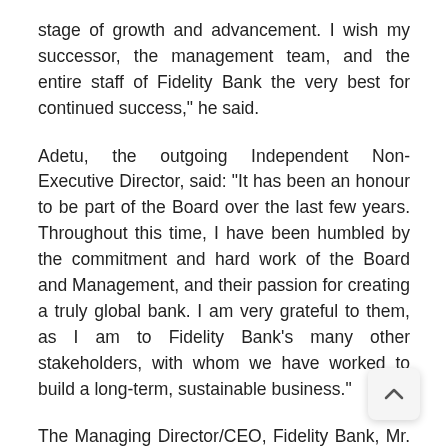stage of growth and advancement. I wish my successor, the management team, and the entire staff of Fidelity Bank the very best for continued success," he said.
Adetu, the outgoing Independent Non-Executive Director, said: “It has been an honour to be part of the Board over the last few years. Throughout this time, I have been humbled by the commitment and hard work of the Board and Management, and their passion for creating a truly global bank. I am very grateful to them, as I am to Fidelity Bank’s many other stakeholders, with whom we have worked to build a long-term, sustainable business."
The Managing Director/CEO, Fidelity Bank, Mr. Nnamdi John Okonkwo, commended contributions of the outgoing Board members,